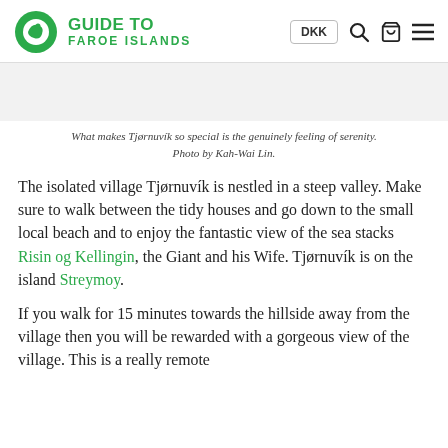Guide to Faroe Islands — DKK
[Figure (photo): Placeholder image area for Tjørnuvík photo]
What makes Tjørnuvík so special is the genuinely feeling of serenity. Photo by Kah-Wai Lin.
The isolated village Tjørnuvík is nestled in a steep valley. Make sure to walk between the tidy houses and go down to the small local beach and to enjoy the fantastic view of the sea stacks Risin og Kellingin, the Giant and his Wife. Tjørnuvík is on the island Streymoy.
If you walk for 15 minutes towards the hillside away from the village then you will be rewarded with a gorgeous view of the village. This is a really remote…